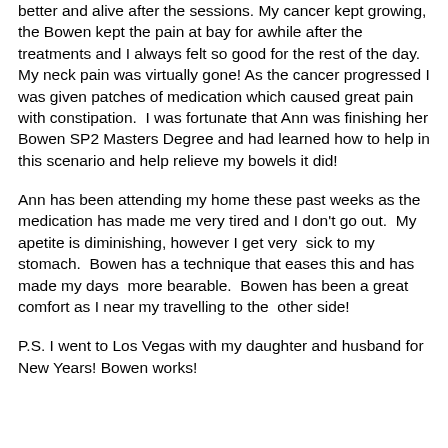better and alive after the sessions. My cancer kept growing, the Bowen kept the pain at bay for awhile after the treatments and I always felt so good for the rest of the day.  My neck pain was virtually gone! As the cancer progressed I was given patches of medication which caused great pain with constipation.  I was fortunate that Ann was finishing her Bowen SP2 Masters Degree and had learned how to help in this scenario and help relieve my bowels it did!
Ann has been attending my home these past weeks as the medication has made me very tired and I don't go out.  My apetite is diminishing, however I get very  sick to my stomach.  Bowen has a technique that eases this and has made my days  more bearable.  Bowen has been a great comfort as I near my travelling to the  other side!
P.S. I went to Los Vegas with my daughter and husband for New Years! Bowen works!